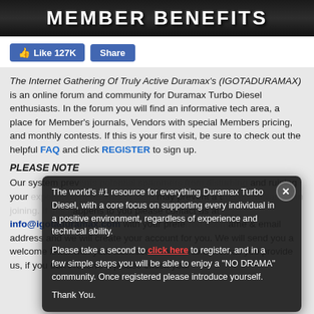MEMBER BENEFITS
[Figure (screenshot): Facebook Like button showing 127K likes and Share button]
The Internet Gathering Of Truly Active Duramax's (IGOTADURAMAX) is an online forum and community for Duramax Turbo Diesel enthusiasts. In the forum you will find an informative tech area, a place for Member's journals, Vendors with special Members pricing, and monthly contests. If this is your first visit, be sure to check out the helpful FAQ and click REGISTER to sign up.
PLEASE NOTE
Our system prevents potential spammers from disturbing and ruining your experience here. This system may prevent a true enthusiast from joining. If this happens to you please contact us at info@igotaduramax.com with your preferred username & email address and we will create your account for you. We will send you a welcome letter with your user conformation to the email you provide us, if you don't receive it please check your
The world's #1 resource for everything Duramax Turbo Diesel, with a core focus on supporting every individual in a positive environment, regardless of experience and technical ability.

Please take a second to click here to register, and in a few simple steps you will be able to enjoy a "NO DRAMA" community. Once registered please introduce yourself.

Thank You.